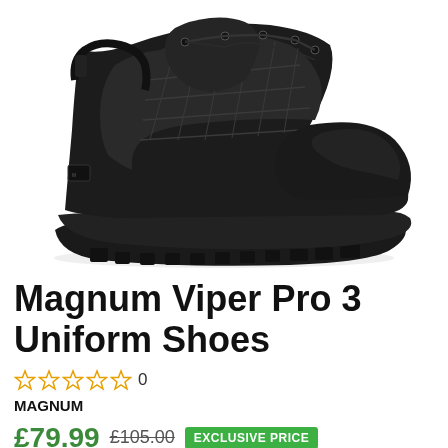[Figure (photo): Black Magnum Viper Pro 3 Uniform shoe on white background, low-cut tactical shoe with mesh upper, black laces, and rugged sole]
Magnum Viper Pro 3 Uniform Shoes
☆☆☆☆☆ 0
MAGNUM
£79.99 £105.00 EXCLUSIVE PRICE